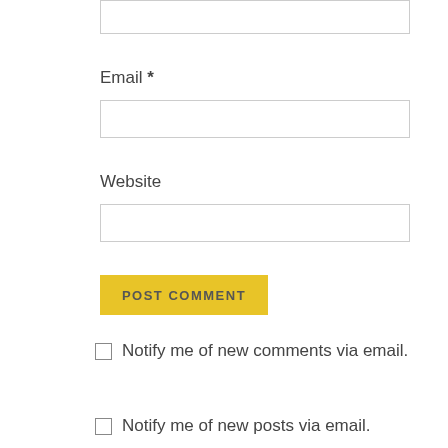[Figure (screenshot): Top portion of a web comment form showing a partially visible text input box at the top of the page]
Email *
[Figure (screenshot): Email input field text box]
Website
[Figure (screenshot): Website input field text box]
POST COMMENT
Notify me of new comments via email.
Notify me of new posts via email.